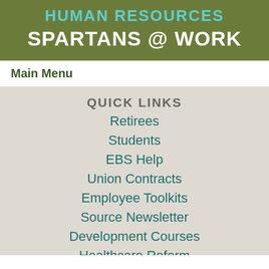HUMAN RESOURCES SPARTANS @ WORK
Main Menu
QUICK LINKS
Retirees
Students
EBS Help
Union Contracts
Employee Toolkits
Source Newsletter
Development Courses
Healthcare Reform
Employment/outh...